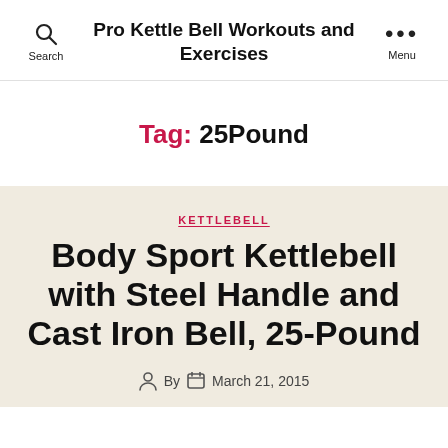Pro Kettle Bell Workouts and Exercises
Tag: 25Pound
KETTLEBELL
Body Sport Kettlebell with Steel Handle and Cast Iron Bell, 25-Pound
By  March 21, 2015